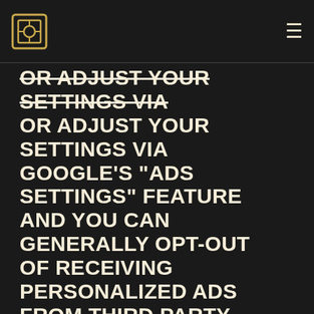[Logo] [Menu]
OR ADJUST YOUR SETTINGS VIA GOOGLE'S “ADS SETTINGS” FEATURE AND YOU CAN GENERALLY OPT-OUT OF RECEIVING PERSONALIZED ADS FROM THIRD PARTY ADVERTISERS AND AD NETWORKS WHO ARE MEMBERS OF THE NETWORK ADVERTISING INITIATIVE (NAI) OR WHO FOLLOW THE DIGITAL ADVERTISING ALLIANCE’S (DAA) SELF-REGULATORY PRINCIPLES FOR ONLINE BEHAVIORAL ADVERTISING BY VISITING THE OPT-OUT PAGES ON THE NAI SITE AND DAA SITE.
HOW WE USE INFORMATION AND